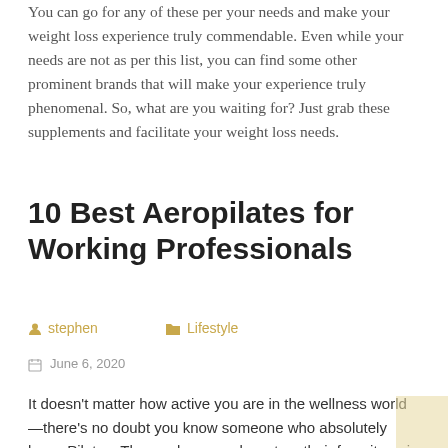You can go for any of these per your needs and make your weight loss experience truly commendable. Even while your needs are not as per this list, you can find some other prominent brands that will make your experience truly phenomenal. So, what are you waiting for? Just grab these supplements and facilitate your weight loss needs.
10 Best Aeropilates for Working Professionals
stephen   Lifestyle
June 6, 2020
It doesn't matter how active you are in the wellness world—there's no doubt you know someone who absolutely loves Pilates. They wake up early, put on their favorite pair of leggings and head to the studio to perform more locatris